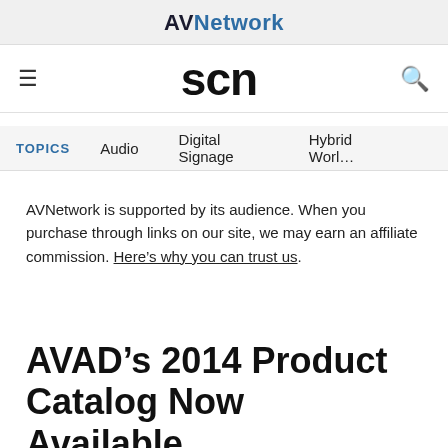AVNetwork
scn
TOPICS   Audio   Digital Signage   Hybrid World
AVNetwork is supported by its audience. When you purchase through links on our site, we may earn an affiliate commission. Here’s why you can trust us.
AVAD’s 2014 Product Catalog Now Available